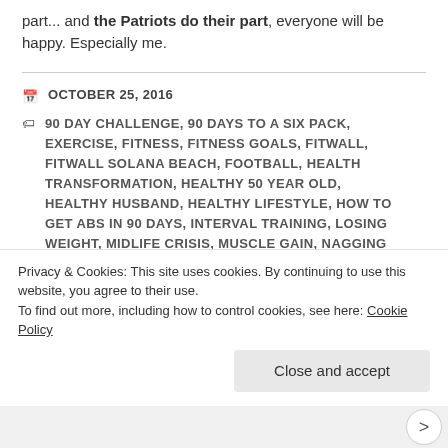part... and the Patriots do their part, everyone will be happy. Especially me.
OCTOBER 25, 2016
90 DAY CHALLENGE, 90 DAYS TO A SIX PACK, EXERCISE, FITNESS, FITNESS GOALS, FITWALL, FITWALL SOLANA BEACH, FOOTBALL, HEALTH TRANSFORMATION, HEALTHY 50 YEAR OLD, HEALTHY HUSBAND, HEALTHY LIFESTYLE, HOW TO GET ABS IN 90 DAYS, INTERVAL TRAINING, LOSING WEIGHT, MIDLIFE CRISIS, MUSCLE GAIN, NAGGING SPOUSE, NAGGING WIFE, PATRIOTS, PATRIOTS FAN,
Privacy & Cookies: This site uses cookies. By continuing to use this website, you agree to their use. To find out more, including how to control cookies, see here: Cookie Policy
Close and accept